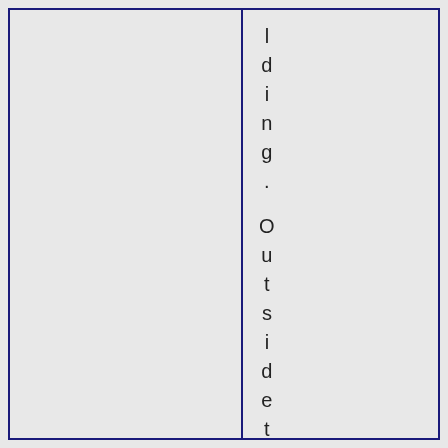lding. Outside the house is taste